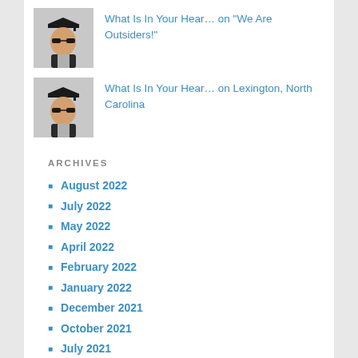[Figure (photo): Avatar photo of a person in graduation cap and gown with sunglasses, used as commenter profile image (first comment)]
What Is In Your Hear… on "We Are Outsiders!"
[Figure (photo): Avatar photo of a person in graduation cap and gown with sunglasses, used as commenter profile image (second comment)]
What Is In Your Hear… on Lexington, North Carolina
ARCHIVES
August 2022
July 2022
May 2022
April 2022
February 2022
January 2022
December 2021
October 2021
July 2021
March 2021
February 2021
November 2020
June 2020